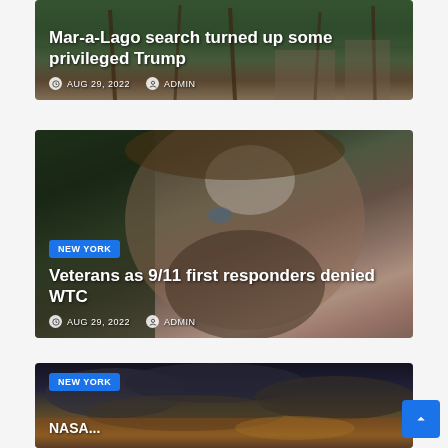[Figure (photo): Aerial or ground-level tropical scene at Mar-a-Lago with palm trees and buildings visible, partially cropped at top. Overlay shows article title and metadata.]
Mar-a-Lago search turned up some privileged Trump
AUG 29, 2022  ADMIN
[Figure (photo): Close-up photo of a bearded man with disheveled hair and blue eyes, looking toward camera. Dark outdoor background.]
Veterans as 9/11 first responders denied WTC
AUG 29, 2022  ADMIN
[Figure (photo): Dramatic sky with dark storm clouds and warm orange/golden light near the horizon, suggesting sunset or severe weather.]
NASA...